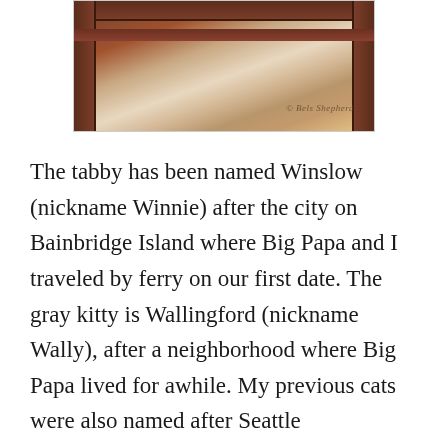[Figure (photo): Close-up photograph of a dark wooden chair or furniture frame with decorative floral fabric/paper visible beneath, with a photographer's watermark signature in the lower right area.]
The tabby has been named Winslow (nickname Winnie) after the city on Bainbridge Island where Big Papa and I traveled by ferry on our first date. The gray kitty is Wallingford (nickname Wally), after a neighborhood where Big Papa lived for awhile. My previous cats were also named after Seattle neighborhoods: Magnolia, or Maggie